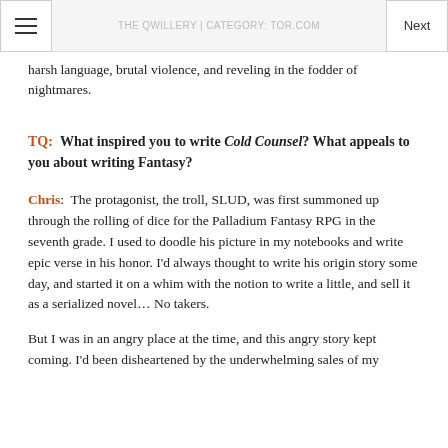THE QWILLERY | CATEGORY: TOR.COM
harsh language, brutal violence, and reveling in the fodder of nightmares.
TQ: What inspired you to write Cold Counsel? What appeals to you about writing Fantasy?
Chris: The protagonist, the troll, SLUD, was first summoned up through the rolling of dice for the Palladium Fantasy RPG in the seventh grade. I used to doodle his picture in my notebooks and write epic verse in his honor. I'd always thought to write his origin story some day, and started it on a whim with the notion to write a little, and sell it as a serialized novel… No takers.
But I was in an angry place at the time, and this angry story kept coming. I'd been disheartened by the underwhelming sales of my